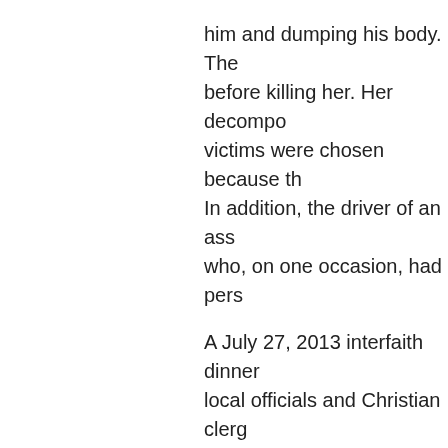him and dumping his body. The before killing her. Her decompo victims were chosen because th In addition, the driver of an ass who, on one occasion, had pers
A July 27, 2013 interfaith dinner local officials and Christian clerg the audience: “Discrimination is make alliances.” This recommen aforementioned 1991 Muslim Br organizations that shared the c Muslim nation.